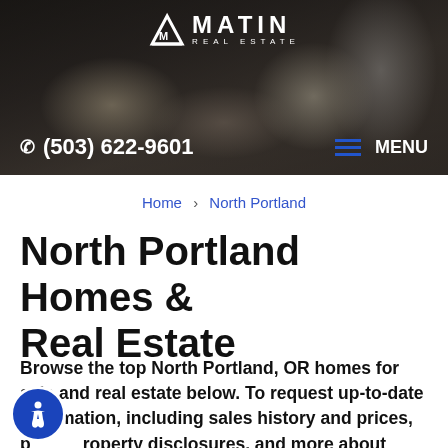[Figure (screenshot): MATIN Real Estate website header with dark interior room photo background, white logo text 'MATIN REAL ESTATE', phone number (503) 622-9601, and MENU button with blue hamburger lines]
Home › North Portland
North Portland Homes & Real Estate
Browse the top North Portland, OR homes for sale and real estate below. To request up-to-date information, including sales history and prices, property disclosures, and more about North and properties for sale, or to arrange a private showing of any property listed below, contact your